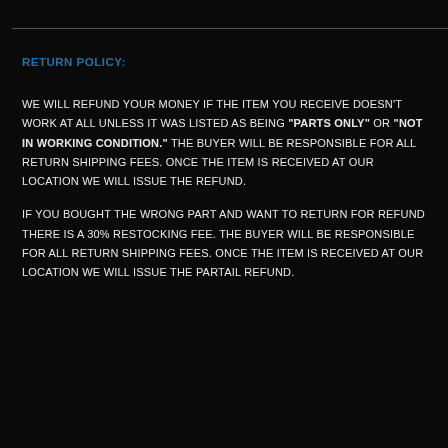RETURN POLICY:
WE WILL REFUND YOUR MONEY IF THE ITEM YOU RECEIVE DOESN'T WORK AT ALL UNLESS IT WAS LISTED AS BEING "PARTS ONLY" OR "NOT IN WORKING CONDITION." THE BUYER WILL BE RESPONSIBLE FOR ALL RETURN SHIPPING FEES. ONCE THE ITEM IS RECEIVED AT OUR LOCATION WE WILL ISSUE THE REFUND.
IF YOU BOUGHT THE WRONG PART AND WANT TO RETURN FOR REFUND THERE IS A 30% RESTOCKING FEE. THE BUYER WILL BE RESPONSIBLE FOR ALL RETURN SHIPPING FEES. ONCE THE ITEM IS RECEIVED AT OUR LOCATION WE WILL ISSUE THE PARTAIL REFUND.